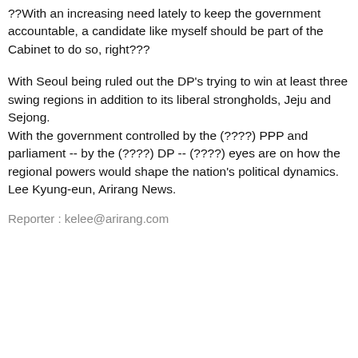??With an increasing need lately to keep the government accountable, a candidate like myself should be part of the Cabinet to do so, right???
With Seoul being ruled out the DP's trying to win at least three swing regions in addition to its liberal strongholds, Jeju and Sejong. With the government controlled by the (????) PPP and parliament -- by the (????) DP -- (????) eyes are on how the regional powers would shape the nation's political dynamics. Lee Kyung-eun, Arirang News.
Reporter : kelee@arirang.com